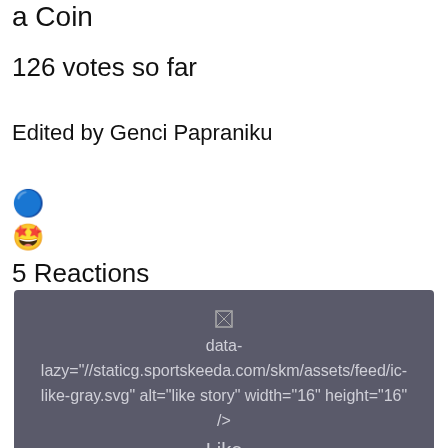a Coin
126 votes so far
Edited by Genci Papraniku
[Figure (other): Thumbs up emoji icon (blue circle with thumbs up)]
[Figure (other): Star-struck / excited face emoji]
5 Reactions
[Figure (screenshot): Dark grey box containing broken image placeholder and text: data-lazy="//staticg.sportskeeda.com/skm/assets/feed/ic-like-gray.svg" alt="like story" width="16" height="16" /> Like]